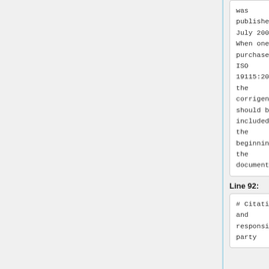was published in July 2006. When one purchases ISO 19115:2003, the corrigendum should be included at the beginning of the document.
was published in July 2006. When one purchases ISO 19115:2003, the corrigendum should be included at the beginning of the document.
Line 92:
Line 92:
# Citation and responsible party
# Citation and responsible party